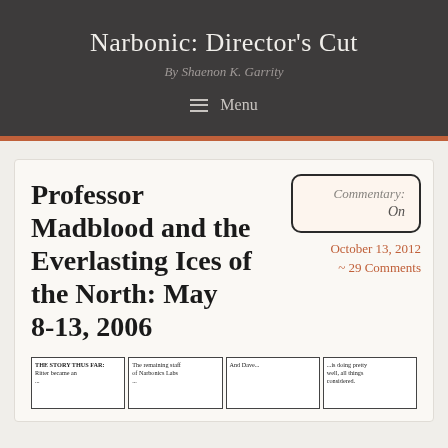Narbonic: Director's Cut — By Shaenon K. Garrity
Professor Madblood and the Everlasting Ices of the North: May 8-13, 2006
Commentary: On
October 13, 2012
~ 29 Comments
[Figure (illustration): Four comic strip panels showing handwritten-style text: 'THE STORY THUS FAR:', 'The remaining staff', 'And Dave...', '...is doing pretty']